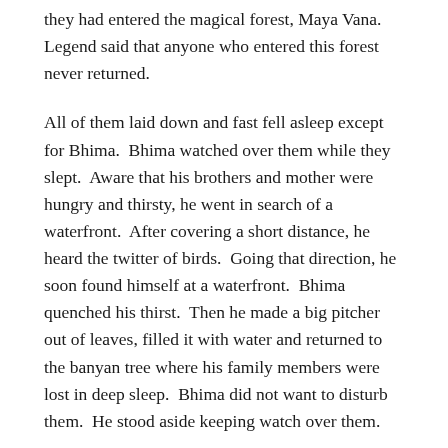they had entered the magical forest, Maya Vana.  Legend said that anyone who entered this forest never returned.
All of them laid down and fast fell asleep except for Bhima.  Bhima watched over them while they slept.  Aware that his brothers and mother were hungry and thirsty, he went in search of a waterfront.  After covering a short distance, he heard the twitter of birds.  Going that direction, he soon found himself at a waterfront.  Bhima quenched his thirst.  Then he made a big pitcher out of leaves, filled it with water and returned to the banyan tree where his family members were lost in deep sleep.  Bhima did not want to disturb them.  He stood aside keeping watch over them.
This demonized magical forest where the Pandavas were sleeping was the hunting preserve of a fearful demon name Hidimba.  He lived there along with his sister Hidimbi and their clan of demons.  While roaming around, in search of a victim, Hidimba sensed the presence of human beings nearby.  He